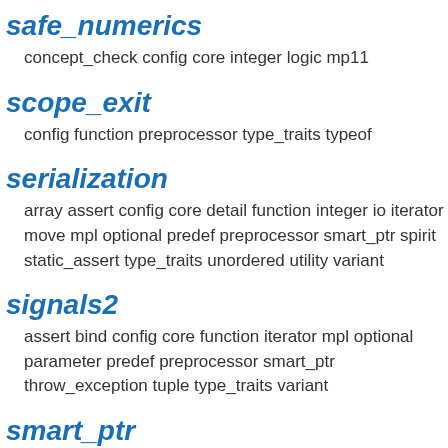safe_numerics
concept_check config core integer logic mp11
scope_exit
config function preprocessor type_traits typeof
serialization
array assert config core detail function integer io iterator move mpl optional predef preprocessor smart_ptr spirit static_assert type_traits unordered utility variant
signals2
assert bind config core function iterator mpl optional parameter predef preprocessor smart_ptr throw_exception tuple type_traits variant
smart_ptr